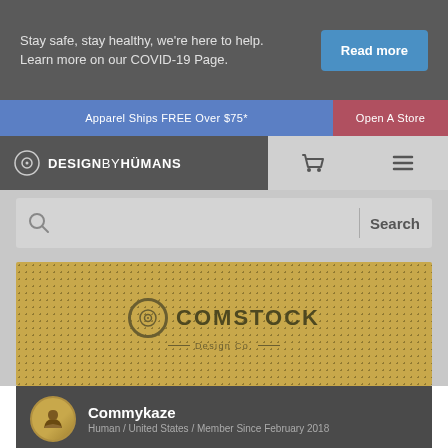Stay safe, stay healthy, we're here to help. Learn more on our COVID-19 Page.
Read more
Apparel Ships FREE Over $75*
Open A Store
[Figure (logo): Design By Humans logo with circular icon]
[Figure (other): Shopping cart icon and hamburger menu icon]
Search
[Figure (logo): Comstock Design Co. store banner logo on golden textured background]
Commykaze
Human / United States / Member Since February 2018